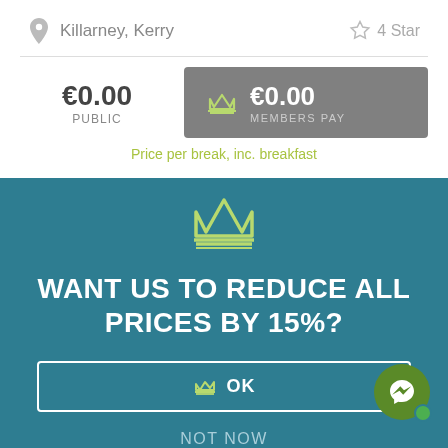Killarney, Kerry
4 Star
€0.00 PUBLIC
€0.00 MEMBERS PAY
Price per break, inc. breakfast
WANT US TO REDUCE ALL PRICES BY 15%?
OK
NOT NOW